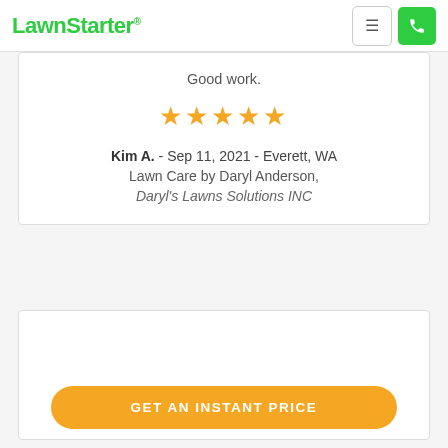LawnStarter
Good work.
[Figure (other): Five gold star rating icons]
Kim A. - Sep 11, 2021 - Everett, WA
Lawn Care by Daryl Anderson,
Daryl's Lawns Solutions INC
GET AN INSTANT PRICE